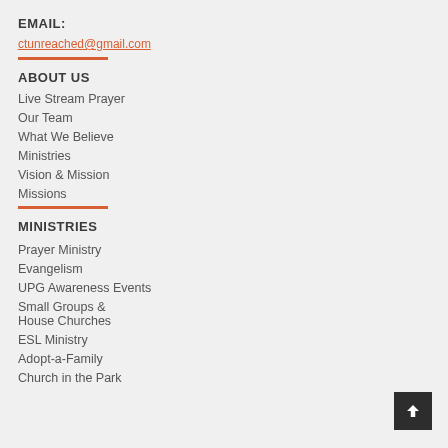EMAIL:
ctunreached@gmail.com
ABOUT US
Live Stream Prayer
Our Team
What We Believe
Ministries
Vision & Mission
Missions
MINISTRIES
Prayer Ministry
Evangelism
UPG Awareness Events
Small Groups & House Churches
ESL Ministry
Adopt-a-Family
Church in the Park